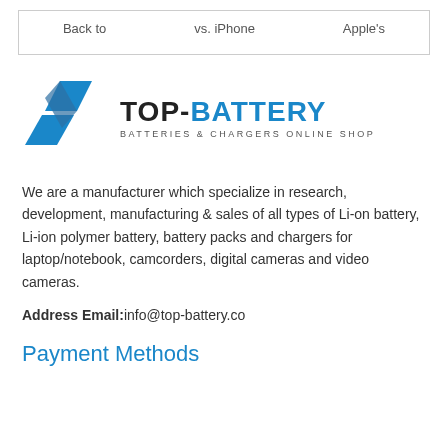Back to   vs. iPhone   Apple's
[Figure (logo): Top-Battery logo with blue geometric arrow/lightning bolt icon and text 'TOP-BATTERY' with subtitle 'BATTERIES & CHARGERS ONLINE SHOP']
We are a manufacturer which specialize in research, development, manufacturing & sales of all types of Li-on battery, Li-ion polymer battery, battery packs and chargers for laptop/notebook, camcorders, digital cameras and video cameras.
Address Email:info@top-battery.co
Payment Methods